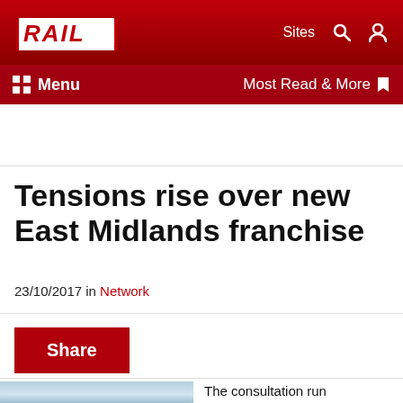RAIL — Sites, Search, User icons, Menu, Most Read & More
Tensions rise over new East Midlands franchise
23/10/2017 in Network
Share
The consultation run